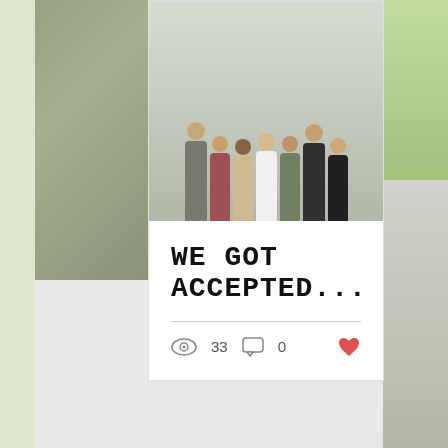[Figure (photo): Group photo of 7 people standing against a white wall, smiling]
WE GOT ACCEPTED...
33 views · 0 comments · heart/like icon
[Figure (other): Pagination dots — 3 dots, first one active/blue]
[Figure (other): Second blog post card with upload/share arrow button, partially visible]